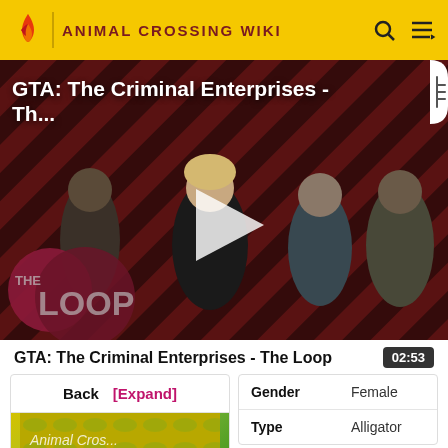ANIMAL CROSSING WIKI
[Figure (screenshot): Video thumbnail for GTA: The Criminal Enterprises - The Loop, showing video game characters on a red striped background with a play button overlay and The Loop logo]
GTA: The Criminal Enterprises - Th...
GTA: The Criminal Enterprises - The Loop
02:53
| Back | [Expand] |
| Gender | Female |
| Type | Alligator |